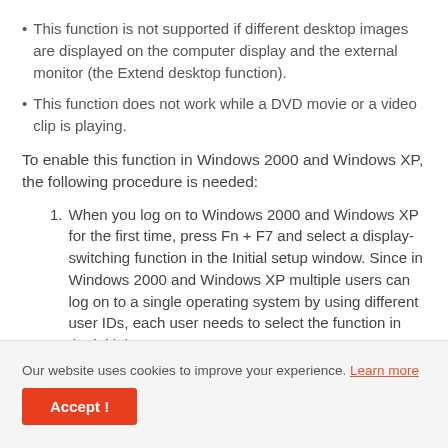This function is not supported if different desktop images are displayed on the computer display and the external monitor (the Extend desktop function).
This function does not work while a DVD movie or a video clip is playing.
To enable this function in Windows 2000 and Windows XP, the following procedure is needed:
1. When you log on to Windows 2000 and Windows XP for the first time, press Fn + F7 and select a display-switching function in the Initial setup window. Since in Windows 2000 and Windows XP multiple users can log on to a single operating system by using different user IDs, each user needs to select the function in the initial
Our website uses cookies to improve your experience. Learn more
Accept !